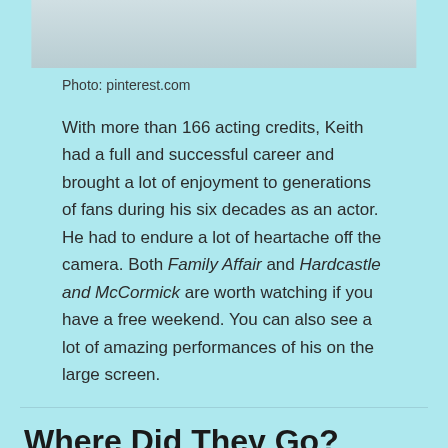[Figure (photo): Partial photo of two people, cropped at top of page]
Photo: pinterest.com
With more than 166 acting credits, Keith had a full and successful career and brought a lot of enjoyment to generations of fans during his six decades as an actor. He had to endure a lot of heartache off the camera. Both Family Affair and Hardcastle and McCormick are worth watching if you have a free weekend. You can also see a lot of amazing performances of his on the large screen.
Where Did They Go? Television